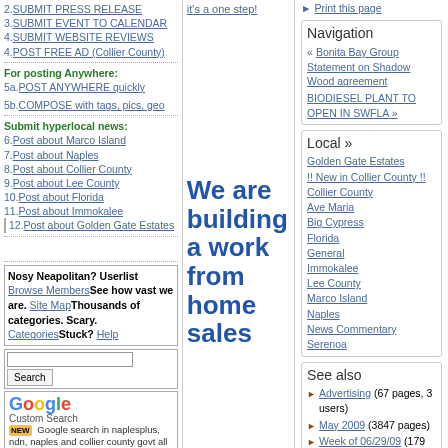2.SUBMIT PRESS RELEASE
3.SUBMIT EVENT TO CALENDAR
4.SUBMIT WEBSITE REVIEWS
4.POST FREE AD (Collier County)
For posting Anywhere:
5a.POST ANYWHERE quickly
5b.COMPOSE with tags, pics, geo
Submit hyperlocal news:
6.Post about Marco Island
7.Post about Naples
8.Post about Collier County
9.Post about Lee County
10.Post about Florida
11.Post about Immokalee
12.Post about Golden Gate Estates
Nosy Neapolitan? Userlist Browse MembersSee how vast we are. Site MapThousands of categories. Scary. CategoriesStuck? Help
[Figure (screenshot): Google Custom Search widget with search box and button]
Google search in naplesplus, ndn, naples and collier county govt all at once!
NAPLESPLUS (Naples FLORIDA) is Collier County's Electronic Village. It's like an old school BBS. Presented by Kenneth Udut + NeighborHelp Deferrals'
it's a one step!
We are building a work from home sales
Print this page
Navigation
« Bonita Bay Group Statement on Shadow Wood agreement
BIODIESEL PLANT TO OPEN IN SWFLA »
Local »
Golden Gate Estates
!! New in Collier County !!
Collier County
Ave Maria
Big Cypress
Florida
General
Immokalee
Lee County
Marco Island
Naples
News Commentary
Serenoa
See also
Advertising (67 pages, 3 users)
May 2009 (3847 pages)
Week of 06/29/09 (179 pages)